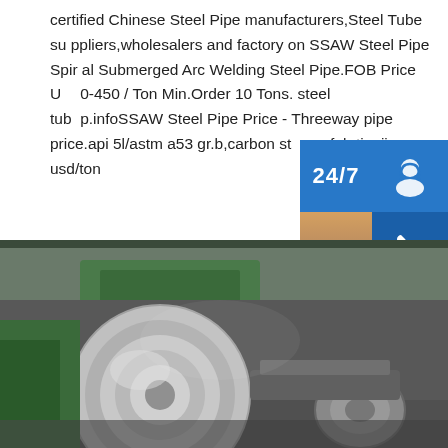certified Chinese Steel Pipe manufacturers,Steel Tube suppliers,wholesalers and factory on SSAW Steel Pipe Spiral Submerged Arc Welding Steel Pipe.FOB Price US$0-450 / Ton Min.Order 10 Tons. steel tubp.infoSSAW Steel Pipe Price - Threeway pipe price.api 5l/astm a53 gr.b,carbon st pe fob tianjin usd/ton
[Figure (photo): Customer support sidebar with 24/7 support label, headset icon, phone icon, Skype icon, a photo of a female customer service agent with headset, PROVIDE Empowering Customers text, and an orange online live button]
[Figure (photo): Industrial photo showing large steel coils/rolls on machinery in a manufacturing facility, with green equipment visible in the background]